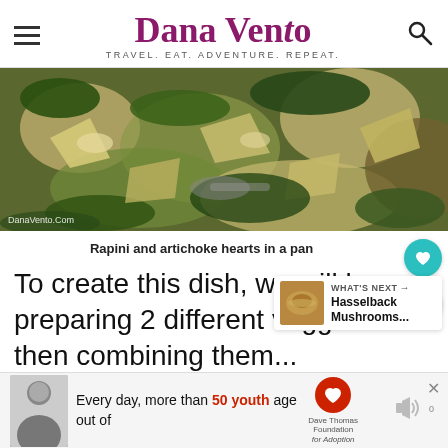Dana Vento — TRAVEL. EAT. ADVENTURE. REPEAT.
[Figure (photo): Close-up photo of rapini (broccoli rabe) and artichoke hearts cooking in a pan, with green leafy vegetables and pale artichoke pieces visible. Watermark 'DanaVento.Com' in bottom left.]
Rapini and artichoke hearts in a pan
To create this dish, we will be preparing 2 different veggies and then combining them together to enjoy rapini and artichoke hearts...